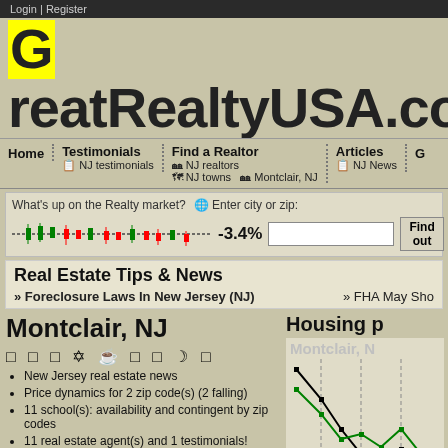Login | Register
GreatRealtyUSA.co
Home | Testimonials | Find a Realtor | Articles | G...
NJ testimonials | NJ realtors | NJ News | NJ towns | Montclair, NJ
What's up on the Realty market? -3.4% | Enter city or zip: [Find out]
Real Estate Tips & News
» Foreclosure Laws In New Jersey (NJ)
» FHA May Sho...
Montclair, NJ
□ □ □ ✡ ☕ □ □ ☽ □
New Jersey real estate news
Price dynamics for 2 zip code(s) (2 falling)
11 school(s): availability and contingent by zip codes
11 real estate agent(s) and 1 testimonials!
Housing p
Montclair, N
[Figure (line-chart): Housing price chart for Montclair NJ showing two lines (black and green) with dashed vertical lines, plotting price trends over time with square data point markers]